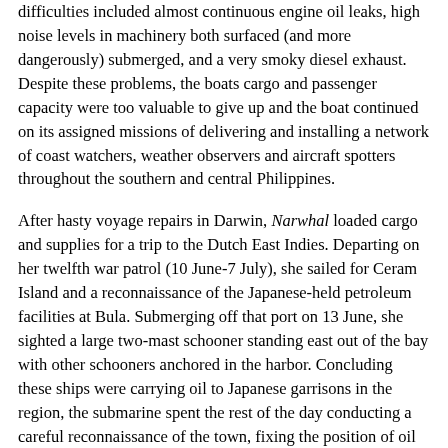difficulties included almost continuous engine oil leaks, high noise levels in machinery both surfaced (and more dangerously) submerged, and a very smoky diesel exhaust. Despite these problems, the boats cargo and passenger capacity were too valuable to give up and the boat continued on its assigned missions of delivering and installing a network of coast watchers, weather observers and aircraft spotters throughout the southern and central Philippines.
After hasty voyage repairs in Darwin, Narwhal loaded cargo and supplies for a trip to the Dutch East Indies. Departing on her twelfth war patrol (10 June-7 July), she sailed for Ceram Island and a reconnaissance of the Japanese-held petroleum facilities at Bula. Submerging off that port on 13 June, she sighted a large two-mast schooner standing east out of the bay with other schooners anchored in the harbor. Concluding these ships were carrying oil to Japanese garrisons in the region, the submarine spent the rest of the day conducting a careful reconnaissance of the town, fixing the position of oil storage tanks, a boiler house and pipeline pumping station. That night Narwhal closed the shore and fired 56 rounds of 6-inch projectiles into these targets, destroying three gasoline and oil storage tanks and setting fires around the power-house and pumping station area. When enemy shore batteries worked shell splashes to within several